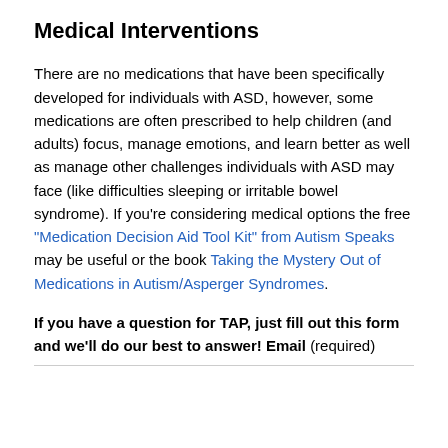Medical Interventions
There are no medications that have been specifically developed for individuals with ASD, however, some medications are often prescribed to help children (and adults) focus, manage emotions, and learn better as well as manage other challenges individuals with ASD may face (like difficulties sleeping or irritable bowel syndrome). If you’re considering medical options the free “Medication Decision Aid Tool Kit” from Autism Speaks may be useful or the book Taking the Mystery Out of Medications in Autism/Asperger Syndromes.
If you have a question for TAP, just fill out this form and we’ll do our best to answer! Email (required)